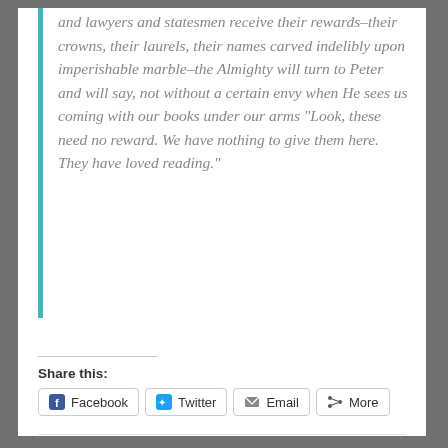and lawyers and statesmen receive their rewards–their crowns, their laurels, their names carved indelibly upon imperishable marble–the Almighty will turn to Peter and will say, not without a certain envy when He sees us coming with our books under our arms “Look, these need no reward. We have nothing to give them here. They have loved reading.”
Share this: